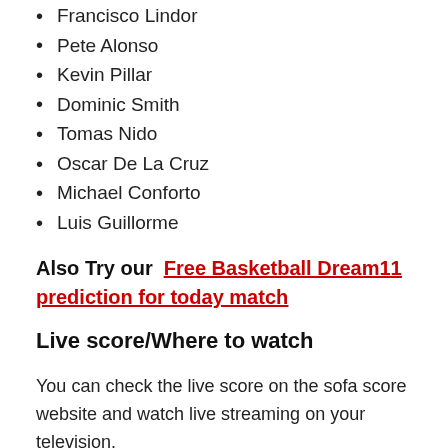Francisco Lindor
Pete Alonso
Kevin Pillar
Dominic Smith
Tomas Nido
Oscar De La Cruz
Michael Conforto
Luis Guillorme
Also Try our  Free Basketball Dream11 prediction for today match
Live score/Where to watch
You can check the live score on the sofa score website and watch live streaming on your television.